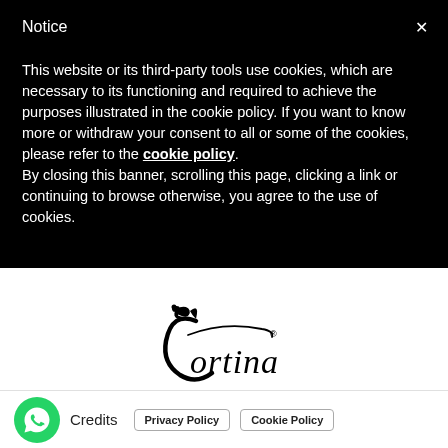Notice
This website or its third-party tools use cookies, which are necessary to its functioning and required to achieve the purposes illustrated in the cookie policy. If you want to know more or withdraw your consent to all or some of the cookies, please refer to the cookie policy. By closing this banner, scrolling this page, clicking a link or continuing to browse otherwise, you agree to the use of cookies.
[Figure (logo): Cortina Dolomiti logo with stylized script text and a small bird icon, registered trademark symbol]
Credits
Privacy Policy
Cookie Policy